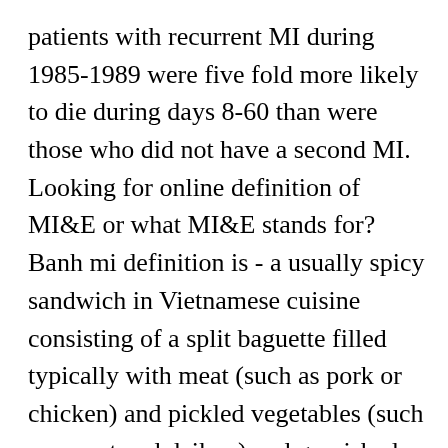patients with recurrent MI during 1985-1989 were five fold more likely to die during days 8-60 than were those who did not have a second MI. Looking for online definition of MI&E or what MI&E stands for? Banh mi definition is - a usually spicy sandwich in Vietnamese cuisine consisting of a split baguette filled typically with meat (such as pork or chicken) and pickled vegetables (such as carrot and daikon) and garnished with cilantro and often cucumbers. CAREERS. -mi. Michigan 2. military intelligence 3. myocardial infarction n. Music The third tone of the diatonic scale in solfeggio. mi Fernandito es muy trabajador — my